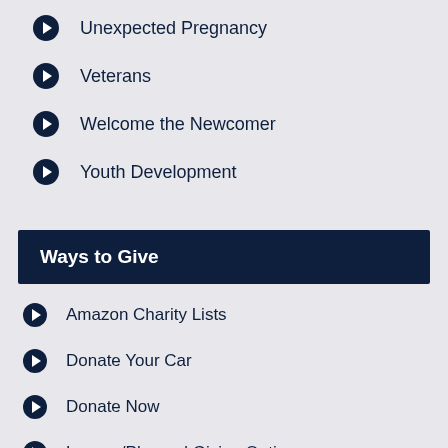Unexpected Pregnancy
Veterans
Welcome the Newcomer
Youth Development
Ways to Give
Amazon Charity Lists
Donate Your Car
Donate Now
Legacy/Planned Giving Options
Tax Credit Donations